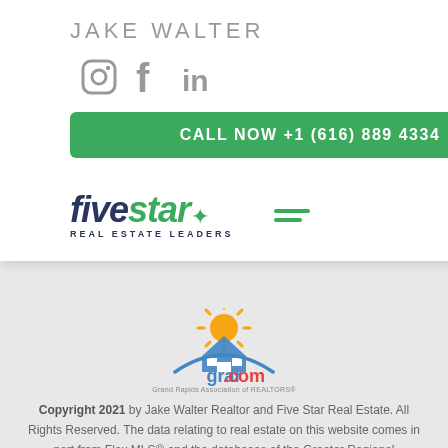JAKE WALTER
[Figure (illustration): Social media icons: Instagram, Facebook, LinkedIn in gray]
CALL NOW +1 (616) 889 4334
[Figure (logo): Five Star Real Estate Leaders logo with menu icon and green horizontal line]
[Figure (logo): grar.com Grand Rapids Association of REALTORS logo]
Copyright 2021 by Jake Walter Realtor and Five Star Real Estate. All Rights Reserved. The data relating to real estate on this website comes in part from Flex MLS® and the databases of the Greater Regional Association of ®REALTORS. Real estate listings held by participating real